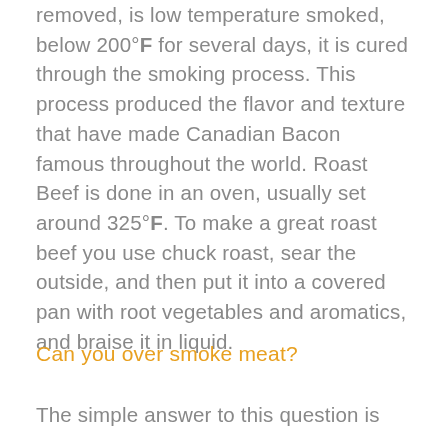removed, is low temperature smoked, below 200°F for several days, it is cured through the smoking process. This process produced the flavor and texture that have made Canadian Bacon famous throughout the world. Roast Beef is done in an oven, usually set around 325°F. To make a great roast beef you use chuck roast, sear the outside, and then put it into a covered pan with root vegetables and aromatics, and braise it in liquid.
Can you over smoke meat?
The simple answer to this question is